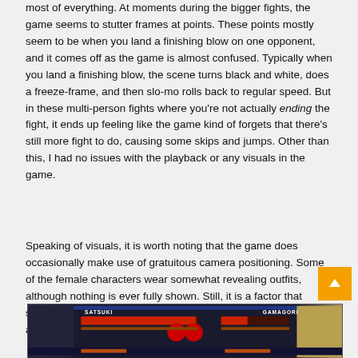most of everything. At moments during the bigger fights, the game seems to stutter frames at points. These points mostly seem to be when you land a finishing blow on one opponent, and it comes off as the game is almost confused. Typically when you land a finishing blow, the scene turns black and white, does a freeze-frame, and then slo-mo rolls back to regular speed. But in these multi-person fights where you're not actually ending the fight, it ends up feeling like the game kind of forgets that there's still more fight to do, causing some skips and jumps. Other than this, I had no issues with the playback or any visuals in the game.
Speaking of visuals, it is worth noting that the game does occasionally make use of gratuitous camera positioning. Some of the female characters wear somewhat revealing outfits, although nothing is ever fully shown. Still, it is a factor that should be brought to attention if such things would turn you away from buying the product.
[Figure (screenshot): A fighting game HUD screenshot showing two characters (Satsuki on the left, Gamagori on the right) with health bars, a red circle icon in the center, and anime character art on both sides.]